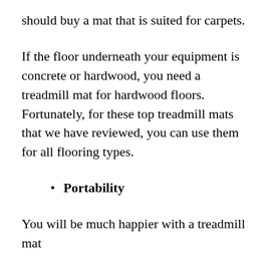should buy a mat that is suited for carpets.
If the floor underneath your equipment is concrete or hardwood, you need a treadmill mat for hardwood floors. Fortunately, for these top treadmill mats that we have reviewed, you can use them for all flooring types.
Portability
You will be much happier with a treadmill mat